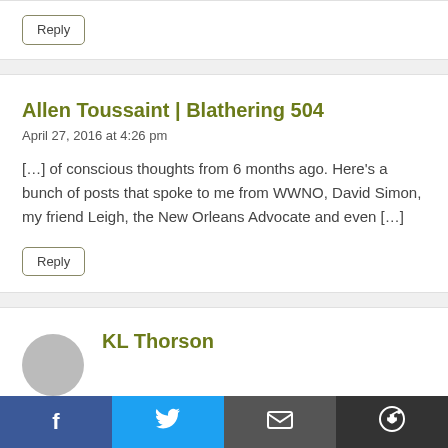Reply
Allen Toussaint | Blathering 504
April 27, 2016 at 4:26 pm
[…] of conscious thoughts from 6 months ago. Here's a bunch of posts that spoke to me from WWNO, David Simon, my friend Leigh, the New Orleans Advocate and even […]
Reply
KL Thorson